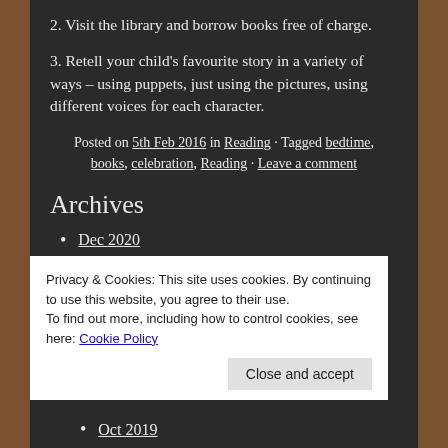2. Visit the library and borrow books free of charge.
3. Retell your child's favourite story in a variety of ways – using puppets, just using the pictures, using different voices for each character.
Posted on 5th Feb 2016 in Reading · Tagged bedtime, books, celebration, Reading · Leave a comment
Archives
Dec 2020
Nov 2020
Privacy & Cookies: This site uses cookies. By continuing to use this website, you agree to their use.
To find out more, including how to control cookies, see here: Cookie Policy
Oct 2019